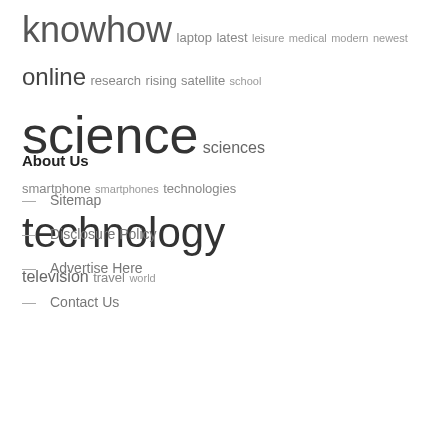knowhow laptop latest leisure medical modern newest online research rising satellite school science sciences smartphone smartphones technologies technology television travel world
About Us
— Sitemap
— Disclosure Policy
— Advertise Here
— Contact Us